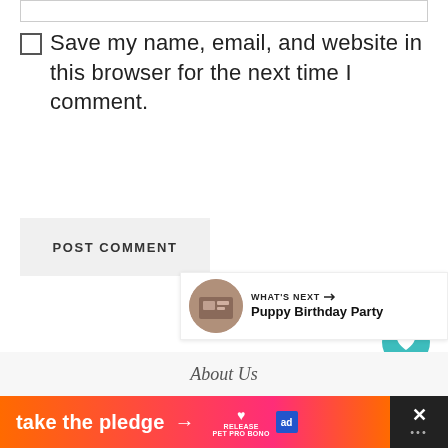Save my name, email, and website in this browser for the next time I comment.
POST COMMENT
[Figure (other): Teal circular heart/favorite button floating action button]
[Figure (other): White circular share button floating action button]
[Figure (other): What's Next widget showing Puppy Birthday Party with thumbnail]
About Us
[Figure (infographic): Orange/pink gradient ad banner saying 'take the pledge' with arrow, Release logo, and Ed box icon, with dark close button on right]